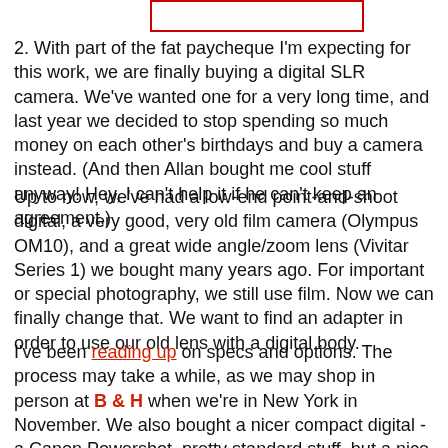[Figure (photo): Partial image at top of page with red border, partially cropped]
2. With part of the fat paycheque I'm expecting for this work, we are finally buying a digital SLR camera. We've wanted one for a very long time, and last year we decided to stop spending so much money on each other's birthdays and buy a camera instead. (And then Allan bought me cool stuff anyway! Hey, I can't help it if he can't keep an agreement.)
Up to now, we've had a low-end point-and-shoot digital, a very good, very old film camera (Olympus OM10), and a great wide angle/zoom lens (Vivitar Series 1) we bought many years ago. For important or special photography, we still use film. Now we can finally change that. We want to find an adapter in order to use our old lens with a digital body.
I've been reading up on specs and options. The process may take a while, as we may shop in person at B & H when we're in New York in November. We also bought a nicer compact digital - a Canon Powershot, pretty standard stuff, but a nice improvement for us, plus it has video.